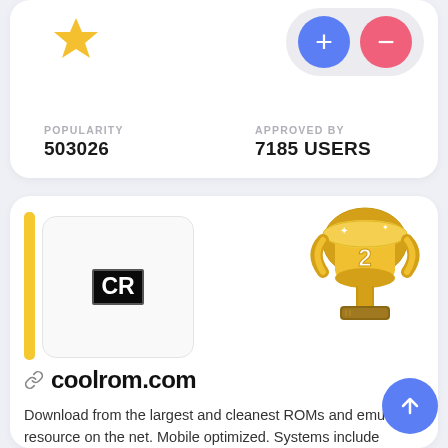[Figure (infographic): Star icon representing popularity, gold colored star]
[Figure (infographic): Plus and minus circular buttons (blue plus, pink/red minus) for approving or disapproving]
POPULARITY
503026
APPROVED BY
7185 USERS
[Figure (infographic): CR logo thumbnail in a white rounded box with yellow sidebar bar]
[Figure (infographic): Gold trophy with number 2 on it, indicating 2nd place ranking]
coolrom.com
Download from the largest and cleanest ROMs and emulators resource on the net. Mobile optimized. Systems include Genesis, Dreamcast, MAME, PSX, PS2,
[Figure (infographic): Blue circular scroll-to-top button with upward arrow]